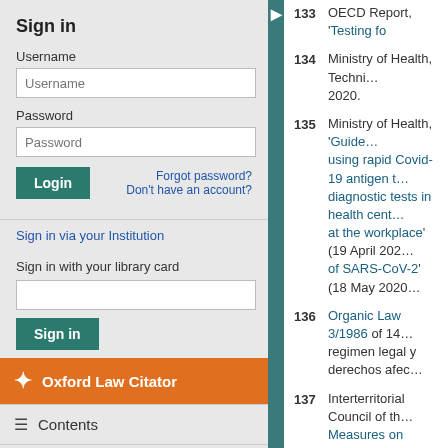Sign in
Username
Password
Login | Forgot password? | Don't have an account?
Sign in via your Institution
Sign in with your library card
Sign in
Oxford Law Citator
Contents
Expand All [+] | Collapse All [-]
Sign up for alerts
133 OECD Report, 'Testing fo...
134 Ministry of Health, Techni... 2020.
135 Ministry of Health, 'Guide... using rapid Covid-19 antigen t... diagnostic tests in health cent... at the workplace' (19 April 202... of SARS-CoV-2' (18 May 2020...
136 Organic Law 3/1986 of 14... regimen legal y derechos afec...
137 Interterritorial Council of th... Measures on Public Health in...
138 Ministry of Health, 'Proto...
139 Order SND/297/2020 (Min...
140 Order SND/404/2020 (Min...
141 Royal Decree-law 21/202...
142 Royal Decree-law 21/202...